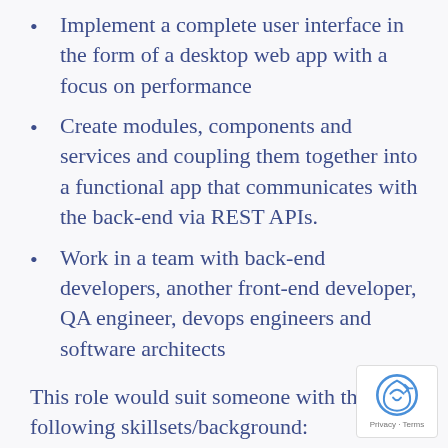Implement a complete user interface in the form of a desktop web app with a focus on performance
Create modules, components and services and coupling them together into a functional app that communicates with the back-end via REST APIs.
Work in a team with back-end developers, another front-end developer, QA engineer, devops engineers and software architects
This role would suit someone with the following skillsets/background:
Front-end developer with some UI design experience and/or experience in...